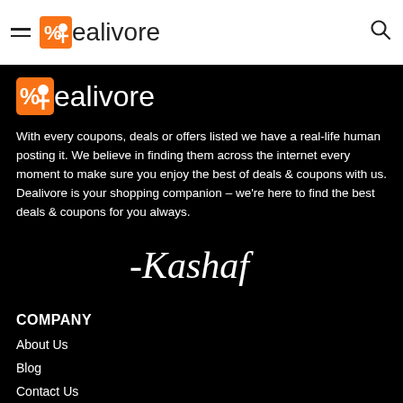Dealivore
[Figure (logo): Dealivore logo with orange percent/person icon and text 'dealivore' in white on black background]
With every coupons, deals or offers listed we have a real-life human posting it. We believe in finding them across the internet every moment to make sure you enjoy the best of deals & coupons with us. Dealivore is your shopping companion – we're here to find the best deals & coupons for you always.
[Figure (illustration): Handwritten cursive signature reading '-Kashaf' in white on black background]
COMPANY
About Us
Blog
Contact Us
BUSINESS